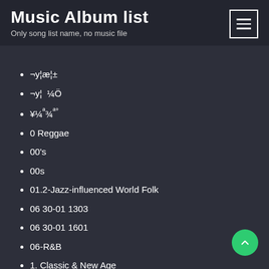Music Album list
Only song list name, no music file
¬y¦æ¦±
¬y¦  ¼Ö
¥¼ª¾ª°
0 Reggae
00's
00s
01.2-Jazz-influenced World Folk
06 30-01 1303
06 30-01 1601
06-R&B
1. Classic & New Age
11-American Folk
15.3-Post-Rock
1930's
1940's
1950s
1960s-Post-Rock 65-69